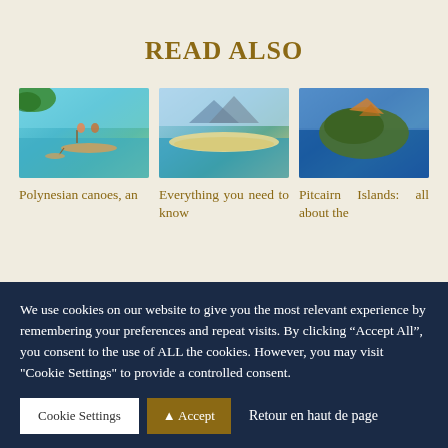READ ALSO
[Figure (photo): Two people in a traditional Polynesian outrigger canoe on turquoise water with tropical trees in background]
[Figure (photo): Aerial view of a sandy atoll island with turquoise water and mountains in the background]
[Figure (photo): Aerial view of a green rocky island surrounded by deep blue ocean]
Polynesian canoes, an
Everything you need to know
Pitcairn Islands: all about the
We use cookies on our website to give you the most relevant experience by remembering your preferences and repeat visits. By clicking “Accept All”, you consent to the use of ALL the cookies. However, you may visit "Cookie Settings" to provide a controlled consent.
Cookie Settings | Accept | Retour en haut de page